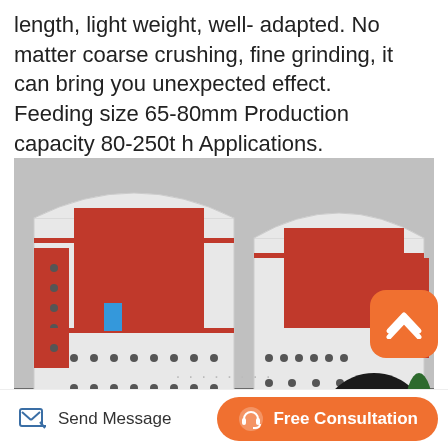length, light weight, well- adapted. No matter coarse crushing, fine grinding, it can bring you unexpected effect. Feeding size 65-80mm Production capacity 80-250t h Applications.
[Figure (photo): Industrial hammer crusher / impact crusher machines in white and red colors, showing large black wheels/pulleys and mechanical components, photographed in a warehouse setting]
Send Message
Free Consultation